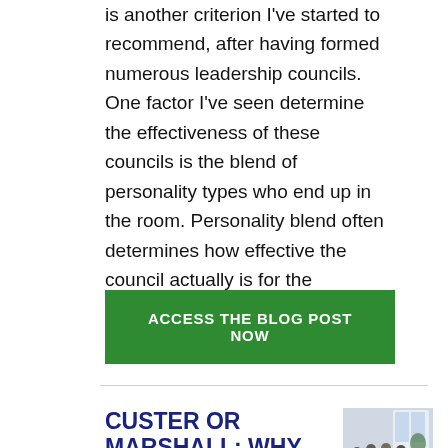is another criterion I've started to recommend, after having formed numerous leadership councils. One factor I've seen determine the effectiveness of these councils is the blend of personality types who end up in the room. Personality blend often determines how effective the council actually is for the business.
ACCESS THE BLOG POST NOW
CUSTER OR MARSHALL: WHY MID-SIZE SERVICE FIRMS
[Figure (photo): Thumbnail photo of people sitting around a table in a meeting room, appearing to be a business discussion.]